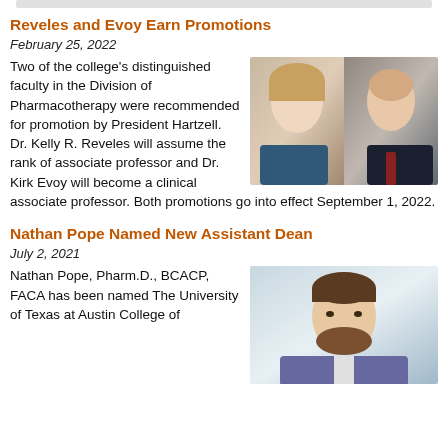Reveles and Evoy Earn Promotions
February 25, 2022
[Figure (photo): Photos of Dr. Kelly R. Reveles and Dr. Kirk Evoy, side by side]
Two of the college's distinguished faculty in the Division of Pharmacotherapy were recommended for promotion by President Hartzell. Dr. Kelly R. Reveles will assume the rank of associate professor and Dr. Kirk Evoy will become a clinical associate professor. Both promotions go into effect September 1, 2022.
Nathan Pope Named New Assistant Dean
July 2, 2021
[Figure (photo): Photo of Nathan Pope, Pharm.D., BCACP, FACA]
Nathan Pope, Pharm.D., BCACP, FACA has been named The University of Texas at Austin College of